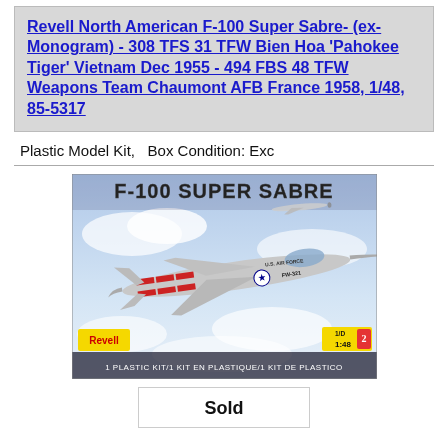Revell North American F-100 Super Sabre- (ex-Monogram) - 308 TFS 31 TFW Bien Hoa 'Pahokee Tiger' Vietnam Dec 1955 - 494 FBS 48 TFW Weapons Team Chaumont AFB France 1958, 1/48, 85-5317
Plastic Model Kit,   Box Condition: Exc
[Figure (photo): Box art for the Revell F-100 Super Sabre plastic model kit (1:48 scale). Shows a silver U.S. Air Force jet with red stripe markings labeled FW-321, flying against a cloudy sky background. Revell logo bottom-left, 1:48 scale indicator bottom-right. Text at bottom: '1 PLASTIC KIT/1 KIT EN PLASTIQUE/1 KIT DE PLASTICO']
Sold